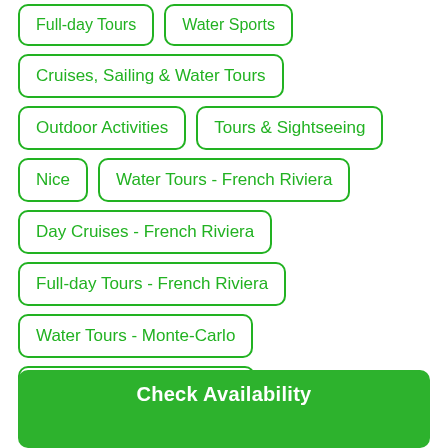Full-day Tours
Water Sports
Cruises, Sailing & Water Tours
Outdoor Activities
Tours & Sightseeing
Nice
Water Tours - French Riviera
Day Cruises - French Riviera
Full-day Tours - French Riviera
Water Tours - Monte-Carlo
Day Cruises - Monte-Carlo
Check Availability